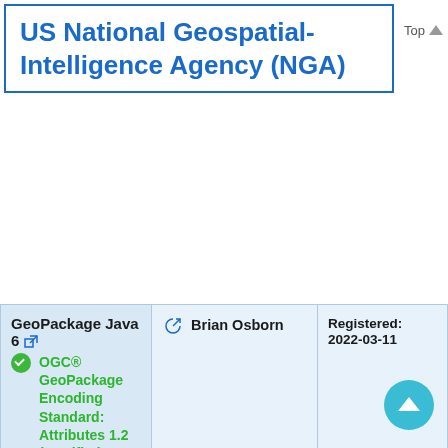US National Geospatial-Intelligence Agency (NGA)
| Product | Contact | Registration |
| --- | --- | --- |
| GeoPackage Java 6 [ext] ✓ OGC® GeoPackage Encoding Standard: Attributes 1.2 (Certified: 2022-03-16) | Brian Osborn | Registered: 2022-03-11 |
| GeoPackage JS 3 [ext] ✓ OGC® GeoPackage Encoding Standard: Attributes 1.2 (Certified: | Dan Barela | Registered: 2020-03-13 |